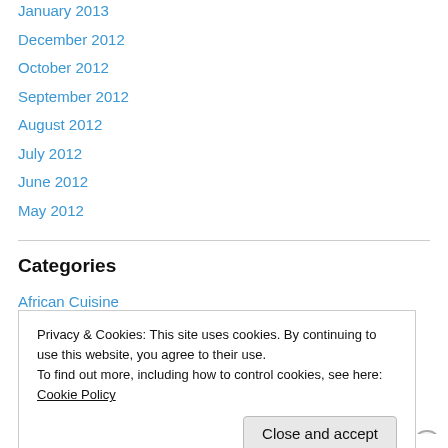January 2013
December 2012
October 2012
September 2012
August 2012
July 2012
June 2012
May 2012
Categories
African Cuisine
American Cuisine
Privacy & Cookies: This site uses cookies. By continuing to use this website, you agree to their use.
To find out more, including how to control cookies, see here: Cookie Policy
Close and accept